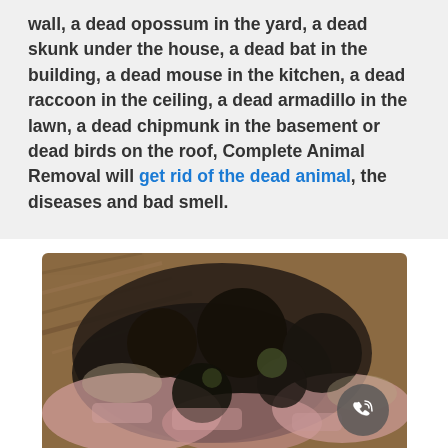wall, a dead opossum in the yard, a dead skunk under the house, a dead bat in the building, a dead mouse in the kitchen, a dead raccoon in the ceiling, a dead armadillo in the lawn, a dead chipmunk in the basement or dead birds on the roof, Complete Animal Removal will get rid of the dead animal, the diseases and bad smell.
[Figure (photo): Close-up photograph of decomposed animal remains on what appears to be pink insulation material and wood, showing dark organic matter mixed with pink fibrous material.]